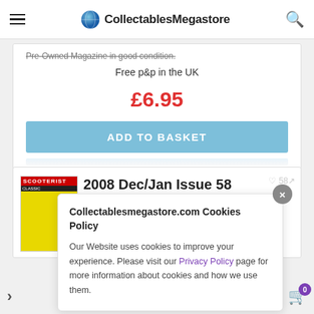CollectablesMegastore
Pre-Owned Magazine in good condition.
Free p&p in the UK
£6.95
ADD TO BASKET
2008 Dec/Jan Issue 58
Classic SCOOTERIST Scene magazine
ref10219
Collectablesmegastore.com Cookies Policy
Our Website uses cookies to improve your experience. Please visit our Privacy Policy page for more information about cookies and how we use them.